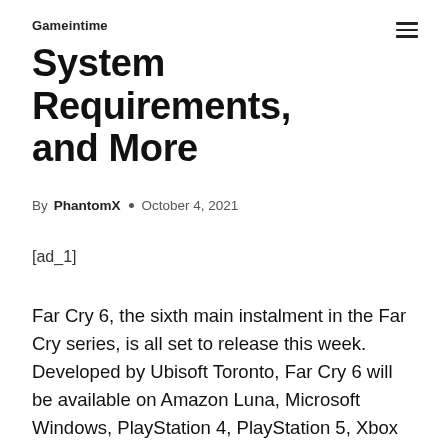Gameintime
System Requirements, and More
By PhantomX • October 4, 2021
[ad_1]
Far Cry 6, the sixth main instalment in the Far Cry series, is all set to release this week. Developed by Ubisoft Toronto, Far Cry 6 will be available on Amazon Luna, Microsoft Windows, PlayStation 4, PlayStation 5, Xbox One, Xbox Series X/S, and Stadia. In the game, you play as local guerrilla Dani Rojas (Sean Rey/ Nisa Gunduz) who's trying to liberate the fictional island Yara, based on Cuba,